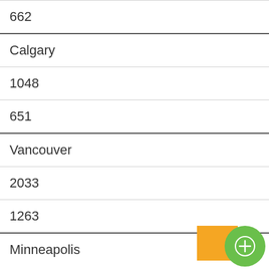| 662 |  |
| Calgary |  |
| 1048 |  |
| 651 |  |
| Vancouver |  |
| 2033 |  |
| 1263 |  |
| Minneapolis |  |